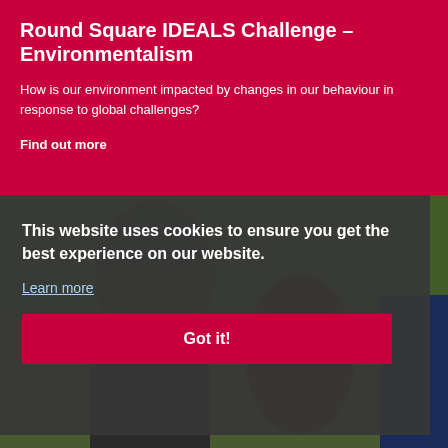Round Square IDEALS Challenge – Environmentalism
How is our environment impacted by changes in our behaviour in response to global challenges?
Find out more
[Figure (photo): Photograph of students outdoors in a green environment, partially obscured by a dark semi-transparent cookie consent overlay]
This website uses cookies to ensure you get the best experience on our website.
Learn more
Got it!